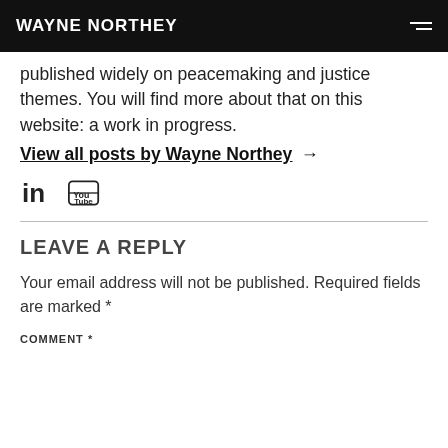WAYNE NORTHEY
published widely on peacemaking and justice themes. You will find more about that on this website: a work in progress.
View all posts by Wayne Northey →
[Figure (infographic): LinkedIn and YouTube social media icons]
LEAVE A REPLY
Your email address will not be published. Required fields are marked *
COMMENT *